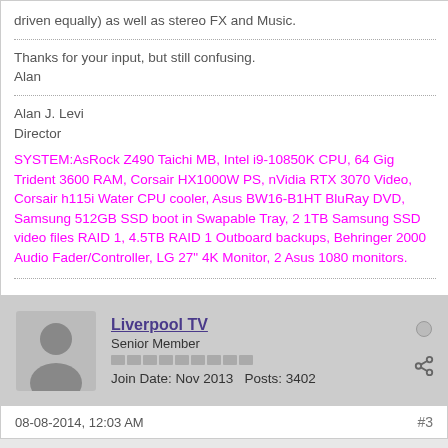driven equally) as well as stereo FX and Music.
Thanks for your input, but still confusing.
Alan
Alan J. Levi
Director
SYSTEM:AsRock Z490 Taichi MB, Intel i9-10850K CPU, 64 Gig Trident 3600 RAM, Corsair HX1000W PS, nVidia RTX 3070 Video, Corsair h115i Water CPU cooler, Asus BW16-B1HT BluRay DVD, Samsung 512GB SSD boot in Swapable Tray, 2 1TB Samsung SSD video files RAID 1, 4.5TB RAID 1 Outboard backups, Behringer 2000 Audio Fader/Controller, LG 27" 4K Monitor, 2 Asus 1080 monitors.
Liverpool TV
Senior Member
Join Date: Nov 2013   Posts: 3402
08-08-2014, 12:03 AM
#3